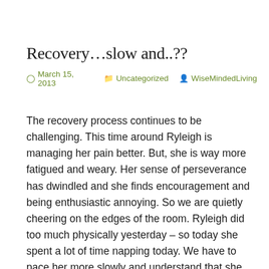Recovery…slow and..??
March 15, 2013   Uncategorized   WiseMindedLiving
The recovery process continues to be challenging. This time around Ryleigh is managing her pain better.  But, she is way more fatigued and weary.  Her sense of perseverance has dwindled and she finds encouragement and being enthusiastic annoying.  So we are quietly cheering on the edges of the room.  Ryleigh did too much physically yesterday – so today she spent a lot of time napping today.  We have to pace her more slowly and understand that she will recover.  Unfortunately, it looks like we will not be going to Mythbusters. One of the childlife workers here at the hospital is going to find another family who could use a nice break from the hospital.  I know they will enjoy the